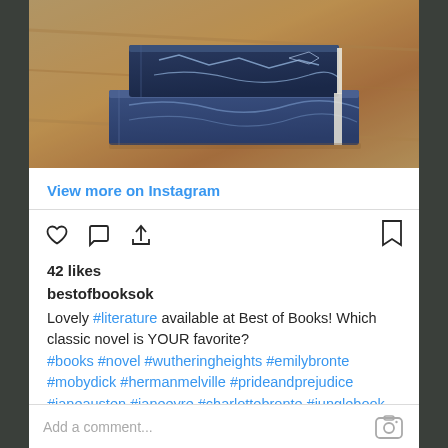[Figure (photo): Books stacked on a wooden surface, with dark blue covers featuring decorative patterns]
View more on Instagram
42 likes
bestofbooksok
Lovely #literature available at Best of Books! Which classic novel is YOUR favorite? #books #novel #wutheringheights #emilybronte #mobydick #hermanmelville #prideandprejudice #janeausten #janeeyre #charlottebronte #junglebook #rudyardkipling #davidcopperfield #charlesdickens #bookstore #indiebookstore #shoplocal
view all comments
Add a comment...